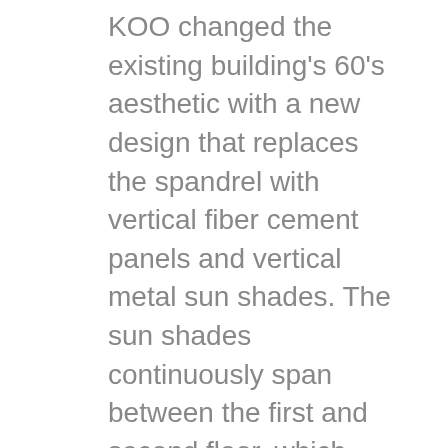KOO changed the existing building's 60's aesthetic with a new design that replaces the spandrel with vertical fiber cement panels and vertical metal sun shades. The sun shades continuously span between the first and second floor, which create blocks of color that break up the horizontal ribbon of the classroom window wall and spandrel panels. The vibrant colors of the panels and shades not only give new life to the building, but also deliver sustainable benefits. The vertical orientation of the shades is optimal for passive solar shading along the east and west